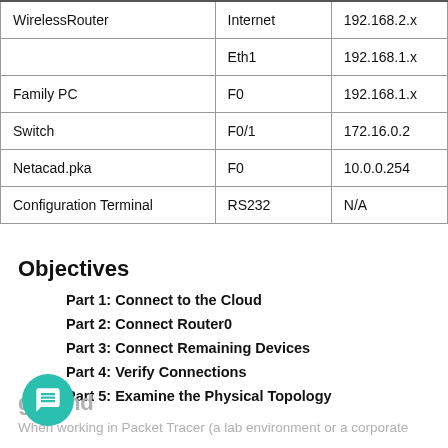| Device | Interface | IP Address |
| --- | --- | --- |
| WirelessRouter | Internet | 192.168.2.x |
|  | Eth1 | 192.168.1.x |
| Family PC | F0 | 192.168.1.x |
| Switch | F0/1 | 172.16.0.2 |
| Netacad.pka | F0 | 10.0.0.254 |
| Configuration Terminal | RS232 | N/A |
Objectives
Part 1: Connect to the Cloud
Part 2: Connect Router0
Part 3: Connect Remaining Devices
Part 4: Verify Connections
Part 5: Examine the Physical Topology
Background
When working in Packet Tracer (a lab environment or a corporate